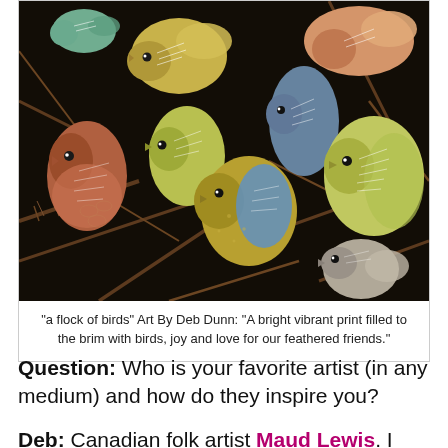[Figure (illustration): A colorful folk-art style painting of a flock of birds perched among dark brown branches on a black background. Birds are painted in greens, yellows, blues, oranges, and grey tones with white line details on feathers.]
"a flock of birds" Art By Deb Dunn: "A bright vibrant print filled to the brim with birds, joy and love for our feathered friends."
Question: Who is your favorite artist (in any medium) and how do they inspire you?
Deb: Canadian folk artist Maud Lewis. I adore